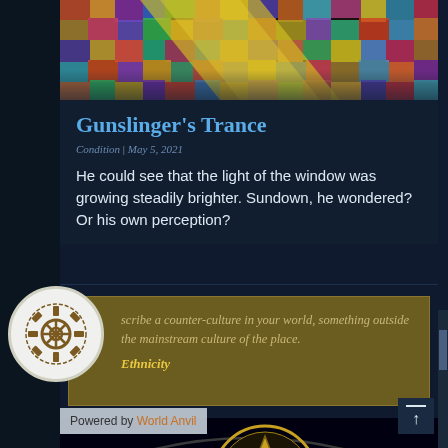[Figure (photo): Colorful mosaic/stained-glass style image at top of page with diagonal yellow/gold stripe across it]
Gunslinger's Trance
Condition | May 5, 2021
He could see that the light of the window was growing steadily brighter. Sundown, he wondered? Or his own perception?
[Figure (illustration): Gear/cog wheel icon in white circle on dark background]
scribe a counter-culture in your world, something outside the mainstream culture of the place. Ethnicity
[Figure (illustration): Gold pentagram star inside eye-shaped outline on black background, with candle on left side]
Powered by World Anvil